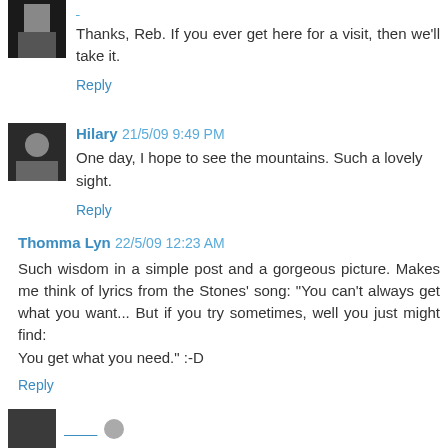Thanks, Reb. If you ever get here for a visit, then we'll take it.
Reply
Hilary 21/5/09 9:49 PM
One day, I hope to see the mountains. Such a lovely sight.
Reply
Thomma Lyn 22/5/09 12:23 AM
Such wisdom in a simple post and a gorgeous picture. Makes me think of lyrics from the Stones' song: "You can't always get what you want... But if you try sometimes, well you just might find:
You get what you need." :-D
Reply